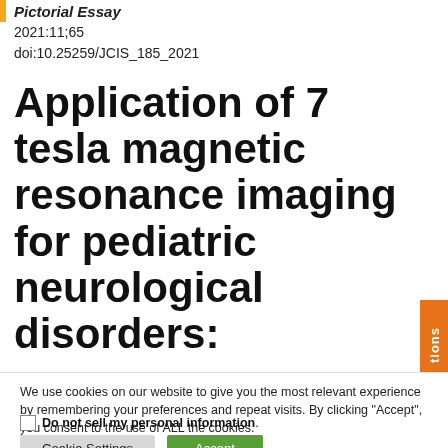Pictorial Essay
2021:11;65
doi:10.25259/JCIS_185_2021
Application of 7 tesla magnetic resonance imaging for pediatric neurological disorders:
We use cookies on our website to give you the most relevant experience by remembering your preferences and repeat visits. By clicking "Accept", you consent to the use of ALL the cookies.
Do not sell my personal information
Cookie Settings  Accept